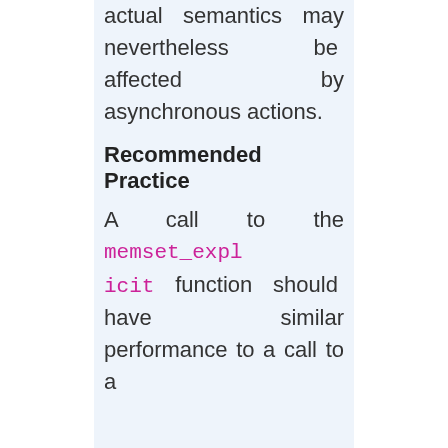actual semantics may nevertheless be affected by asynchronous actions.
Recommended Practice
A call to the memset_explicit function should have similar performance to a call to a